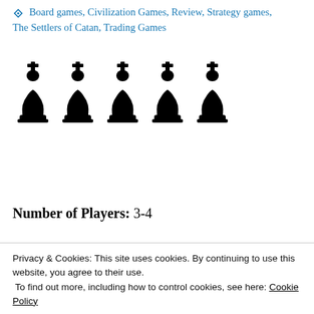Board games, Civilization Games, Review, Strategy games, The Settlers of Catan, Trading Games
[Figure (illustration): Five black chess king pieces in a row, representing a rating (4 out of 5 kings)]
Number of Players: 3-4
Year of Publication: 1995
Creator(s): Volkan Baga, Tanja Donner, Pete Fenlon, Jason Hawkins (Artists) and Klaus Tauber (Designer)
Privacy & Cookies: This site uses cookies. By continuing to use this website, you agree to their use. To find out more, including how to control cookies, see here: Cookie Policy
Catan" if you win the game, but it'd be cool if